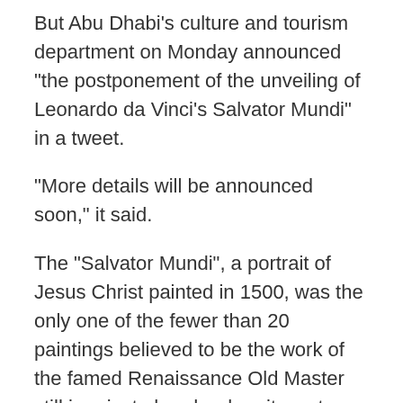But Abu Dhabi's culture and tourism department on Monday announced "the postponement of the unveiling of Leonardo da Vinci's Salvator Mundi" in a tweet.
"More details will be announced soon," it said.
The "Salvator Mundi", a portrait of Jesus Christ painted in 1500, was the only one of the fewer than 20 paintings believed to be the work of the famed Renaissance Old Master still in private hands when it went under the hammer, and sold, at Christie's in November.
The painting was declared authentic six years ago, after long being dismissed as a copy by one of Da